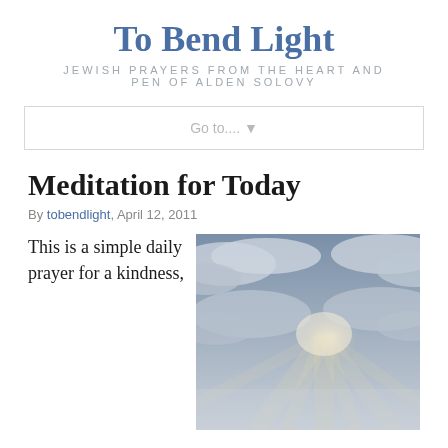To Bend Light
JEWISH PRAYERS FROM THE HEART AND PEN OF ALDEN SOLOVY
Go to.... ▼
Meditation for Today
By tobendlight, April 12, 2011
This is a simple daily prayer for a kindness,
[Figure (photo): Sky with clouds and rays of sunlight breaking through]